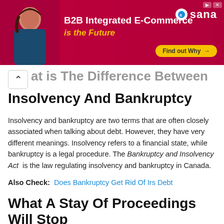[Figure (other): B2B Integrated E-Commerce advertisement banner with woman, Sana logo, and 'Find out Why' button]
What Is The Difference Between Insolvency And Bankruptcy
Insolvency and bankruptcy are two terms that are often closely associated when talking about debt. However, they have very different meanings. Insolvency refers to a financial state, while bankruptcy is a legal procedure. The Bankruptcy and Insolvency Act  is the law regulating insolvency and bankruptcy in Canada.
Also Check:  Does Bankruptcy Get Rid Of Irs Debt
What A Stay Of Proceedings Will Stop